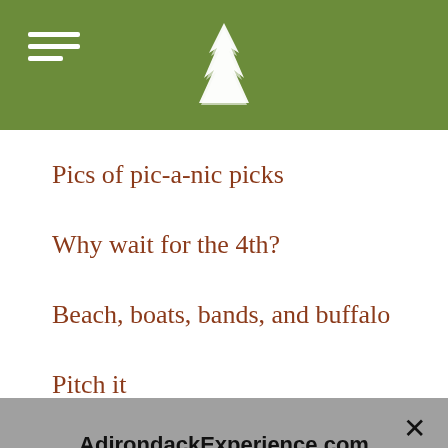Adirondack Experience navigation header with logo
Pics of pic-a-nic picks
Why wait for the 4th?
Beach, boats, bands, and buffalo
Pitch it
AdirondackExperience.com